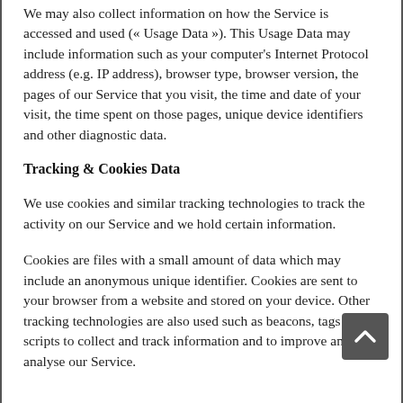We may also collect information on how the Service is accessed and used (« Usage Data »). This Usage Data may include information such as your computer's Internet Protocol address (e.g. IP address), browser type, browser version, the pages of our Service that you visit, the time and date of your visit, the time spent on those pages, unique device identifiers and other diagnostic data.
Tracking & Cookies Data
We use cookies and similar tracking technologies to track the activity on our Service and we hold certain information.
Cookies are files with a small amount of data which may include an anonymous unique identifier. Cookies are sent to your browser from a website and stored on your device. Other tracking technologies are also used such as beacons, tags and scripts to collect and track information and to improve and analyse our Service.